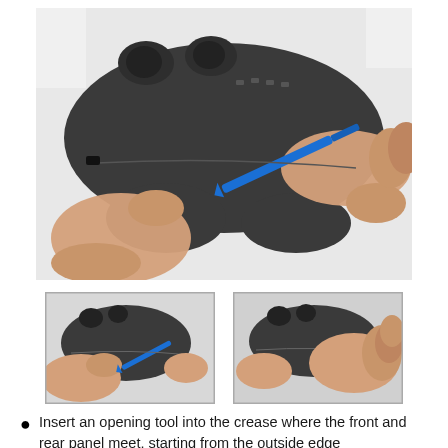[Figure (photo): Close-up photo of two hands holding a dark gray PS4 controller, with a blue plastic opening/pry tool being inserted into the seam between the front and rear panels of the controller.]
[Figure (photo): Thumbnail image showing a PS4 controller with a blue pry tool being inserted into its side seam, view from left angle.]
[Figure (photo): Thumbnail image showing a PS4 controller with a hand pressing on the seam area, view from right angle.]
Insert an opening tool into the crease where the front and rear panel meet, starting from the outside edge